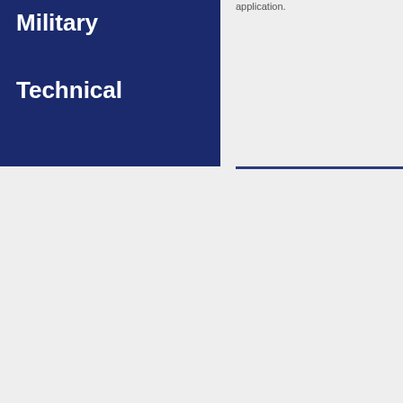Military
Technical
application.